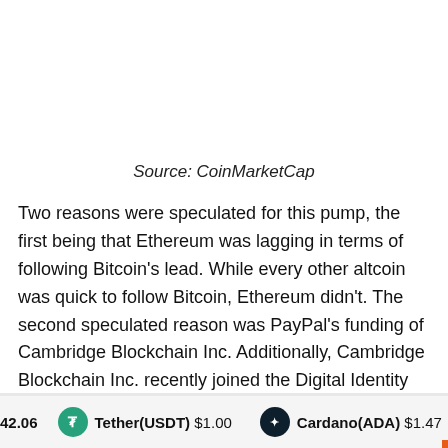Source: CoinMarketCap
Two reasons were speculated for this pump, the first being that Ethereum was lagging in terms of following Bitcoin's lead. While every other altcoin was quick to follow Bitcoin, Ethereum didn't. The second speculated reason was PayPal's funding of Cambridge Blockchain Inc. Additionally, Cambridge Blockchain Inc. recently joined the Digital Identity Foundation [DIF], which includes the Enterprise Ethereum Alliance, Hyperledger, IBM and R3 Corda as members.
42.06   Tether(USDT) $1.00   Cardano(ADA) $1.47   Dog